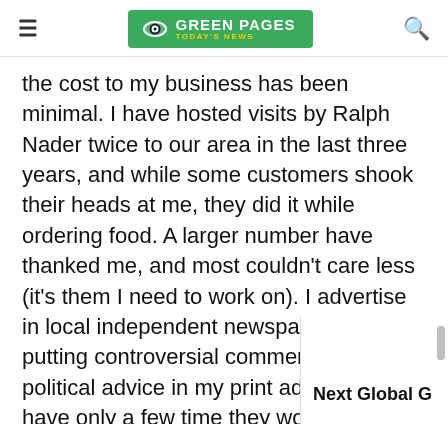GREEN PAGES TODAY'S NEWS
the cost to my business has been minimal. I have hosted visits by Ralph Nader twice to our area in the last three years, and while some customers shook their heads at me, they did it while ordering food. A larger number have thanked me, and most couldn't care less (it's them I need to work on). I advertise in local independent newspapers, usually putting controversial comments and political advice in my print ads. Callers have only a few time they would "never buy bread from a co other such anonymous venom. My bu grown every year for the last ten years believe my being Green has ever hurt
Next Global G